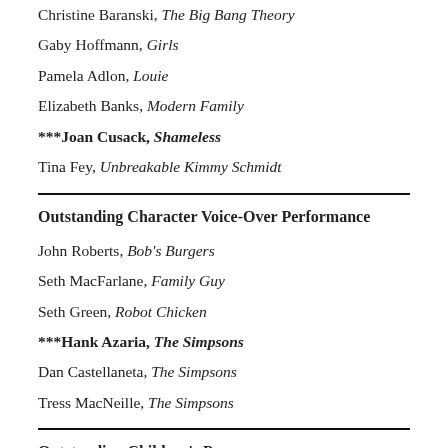Christine Baranski, The Big Bang Theory
Gaby Hoffmann, Girls
Pamela Adlon, Louie
Elizabeth Banks, Modern Family
***Joan Cusack, Shameless
Tina Fey, Unbreakable Kimmy Schmidt
Outstanding Character Voice-Over Performance
John Roberts, Bob's Burgers
Seth MacFarlane, Family Guy
Seth Green, Robot Chicken
***Hank Azaria, The Simpsons
Dan Castellaneta, The Simpsons
Tress MacNeille, The Simpsons
Outstanding Children's Program
***Alan Alda And The Actor Within You: A YoungArts Masterclass